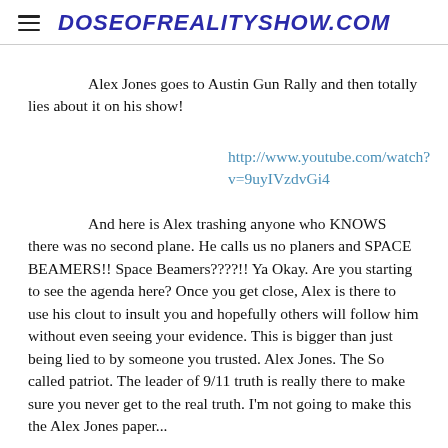DOSEOFREALITYSHOW.COM
Alex Jones goes to Austin Gun Rally and then totally lies about it on his show!
http://www.youtube.com/watch?v=9uyIVzdvGi4
And here is Alex trashing anyone who KNOWS there was no second plane. He calls us no planers and SPACE BEAMERS!! Space Beamers????!! Ya Okay. Are you starting to see the agenda here? Once you get close, Alex is there to use his clout to insult you and hopefully others will follow him without even seeing your evidence. This is bigger than just being lied to by someone you trusted. Alex Jones. The So called patriot. The leader of 9/11 truth is really there to make sure you never get to the real truth. I'm not going to make this the Alex Jones paper...